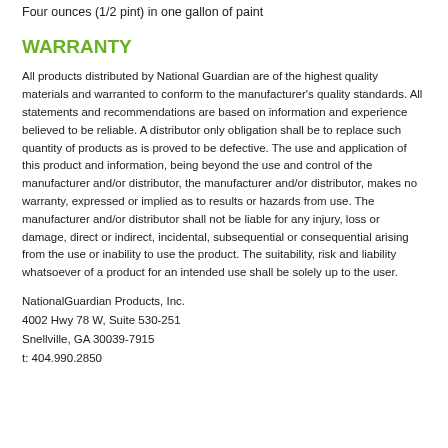Four ounces (1/2 pint) in one gallon of paint
WARRANTY
All products distributed by National Guardian are of the highest quality materials and warranted to conform to the manufacturer's quality standards. All statements and recommendations are based on information and experience believed to be reliable. A distributor only obligation shall be to replace such quantity of products as is proved to be defective. The use and application of this product and information, being beyond the use and control of the manufacturer and/or distributor, the manufacturer and/or distributor, makes no warranty, expressed or implied as to results or hazards from use. The manufacturer and/or distributor shall not be liable for any injury, loss or damage, direct or indirect, incidental, subsequential or consequential arising from the use or inability to use the product. The suitability, risk and liability whatsoever of a product for an intended use shall be solely up to the user.
NationalGuardian Products, Inc.
4002 Hwy 78 W, Suite 530-251
Snellville, GA 30039-7915
t: 404.990.2850